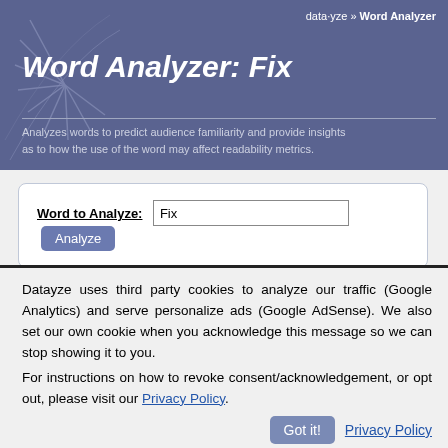data·yze » Word Analyzer
Word Analyzer: Fix
Analyzes words to predict audience familiarity and provide insights as to how the use of the word may affect readability metrics.
Word to Analyze: Fix [Analyze]
Datayze uses third party cookies to analyze our traffic (Google Analytics) and serve personalize ads (Google AdSense). We also set our own cookie when you acknowledge this message so we can stop showing it to you.
For instructions on how to revoke consent/acknowledgement, or opt out, please visit our Privacy Policy.
Got it!  Privacy Policy